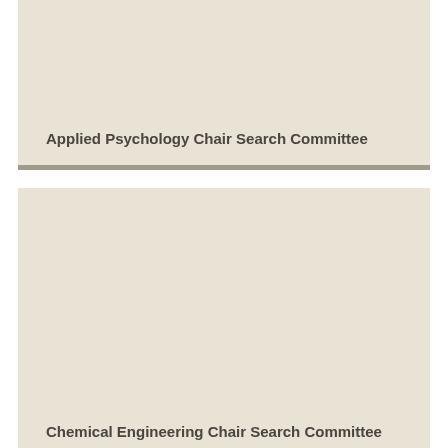Applied Psychology Chair Search Committee
Chemical Engineering Chair Search Committee